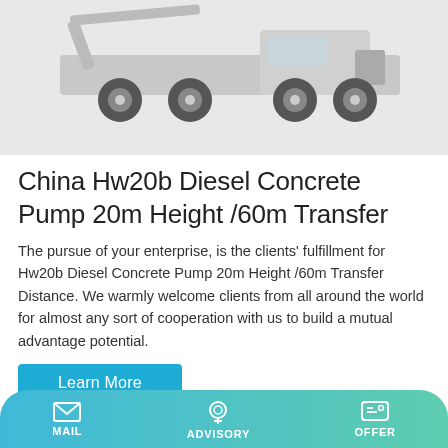[Figure (photo): Partially visible concrete pump truck on white/grey background, showing undercarriage and wheels]
China Hw20b Diesel Concrete Pump 20m Height /60m Transfer
The pursue of your enterprise, is the clients' fulfillment for Hw20b Diesel Concrete Pump 20m Height /60m Transfer Distance. We warmly welcome clients from all around the world for almost any sort of cooperation with us to build a mutual advantage potential.
Learn More
[Figure (photo): Two white cylindrical concrete pump towers with blue Chinese character logos and colorful flags on top against a blue sky background]
MAIL   ADVISORY   OFFER